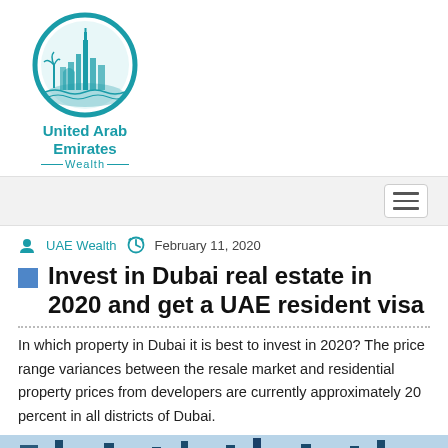[Figure (logo): United Arab Emirates Wealth logo: circular teal emblem with skyline and palm trees silhouette, with text 'United Arab Emirates' and 'Wealth' below]
UAE Wealth   February 11, 2020
Invest in Dubai real estate in 2020 and get a UAE resident visa
In which property in Dubai it is best to invest in 2020? The price range variances between the resale market and residential property prices from developers are currently approximately 20 percent in all districts of Dubai.
[Figure (photo): Aerial/cityscape photo of Dubai real estate and waterways, partially visible at bottom of page]